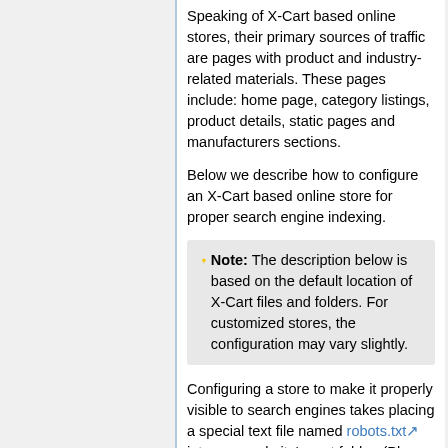Speaking of X-Cart based online stores, their primary sources of traffic are pages with product and industry-related materials. These pages include: home page, category listings, product details, static pages and manufacturers sections.
Below we describe how to configure an X-Cart based online store for proper search engine indexing.
Note: The description below is based on the default location of X-Cart files and folders. For customized stores, the configuration may vary slightly.
Configuring a store to make it properly visible to search engines takes placing a special text file named robots.txt into your website's root folder. (Please note